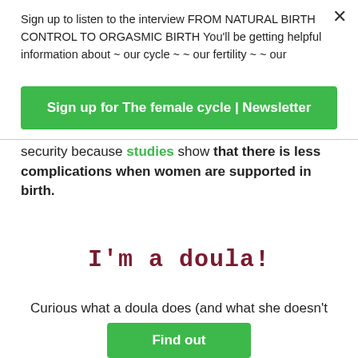Sign up to listen to the interview FROM NATURAL BIRTH CONTROL TO ORGASMIC BIRTH You'll be getting helpful information about ~ our cycle ~ ~ our fertility ~ ~ our
Sign up for The female cycle | Newsletter
security because studies show that there is less complications when women are supported in birth.
I'm a doula!
Curious what a doula does (and what she doesn't do)
Find out